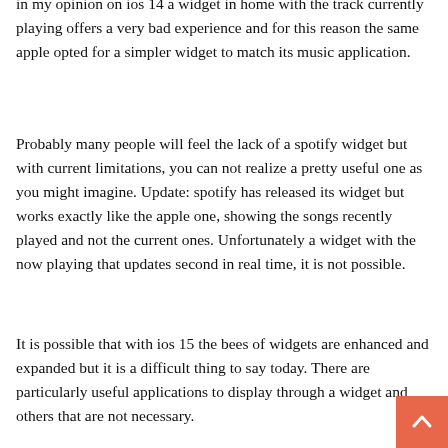in my opinion on ios 14 a widget in home with the track currently playing offers a very bad experience and for this reason the same apple opted for a simpler widget to match its music application.
Probably many people will feel the lack of a spotify widget but with current limitations, you can not realize a pretty useful one as you might imagine. Update: spotify has released its widget but works exactly like the apple one, showing the songs recently played and not the current ones. Unfortunately a widget with the now playing that updates second in real time, it is not possible.
It is possible that with ios 15 the bees of widgets are enhanced and expanded but it is a difficult thing to say today. There are particularly useful applications to display through a widget and others that are not necessary.